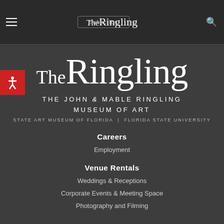TheRingling — navigation bar with hamburger menu, subscribe button, and search icon
[Figure (logo): TheRingling logo — large serif text 'TheRingling' in white on dark background]
THE JOHN & MABLE RINGLING MUSEUM OF ART
STATE ART MUSEUM OF FLORIDA | FLORIDA STATE UNIVERSITY
Careers
Employment
Venue Rentals
Weddings & Receptions
Corporate Events & Meeting Space
Photography and Filming